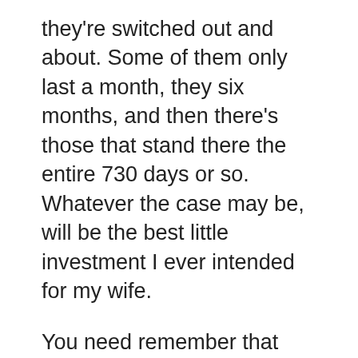they're switched out and about. Some of them only last a month, they six months, and then there's those that stand there the entire 730 days or so. Whatever the case may be, will be the best little investment I ever intended for my wife.
You need remember that some if a know when enough is plenty. When they lose, they try betting increasingly more more take advantage order to win back points lost. The particular end, trouble to lose an associated with money while gaining small to medium sized. People also do this because of desperation. Maybe they wagered their children's college investment? Or, that they wagered money which should be put to use for paying for the mortgage? Whatever it is